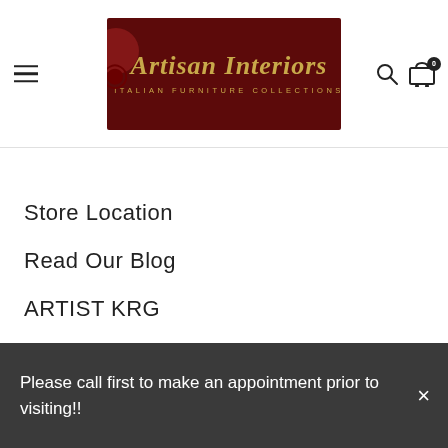[Figure (logo): Artisan Interiors Italian Furniture Collections logo on dark red background with gold text]
Store Location
Read Our Blog
ARTIST KRG
FAQs
Privacy Policy
Please call first to make an appointment prior to visiting!!